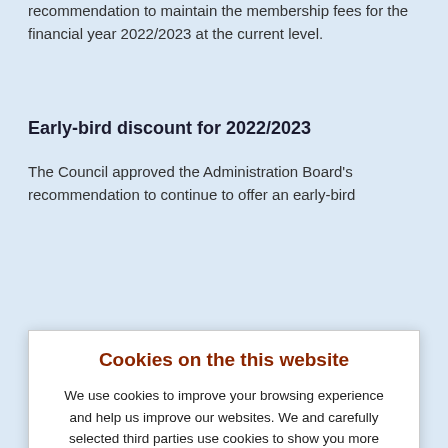recommendation to maintain the membership fees for the financial year 2022/2023 at the current level.
Early-bird discount for 2022/2023
The Council approved the Administration Board's recommendation to continue to offer an early-bird
[Figure (other): Cookie consent dialog overlay. Title: 'Cookies on the this website'. Body text: 'We use cookies to improve your browsing experience and help us improve our websites. We and carefully selected third parties use cookies to show you more relevant ads online. For more information, please click here. By continuing to use our website, you agree to our use of such cookies.' Buttons: Accept | Find out more]
financial year 2021/2022 and the draft budget for the